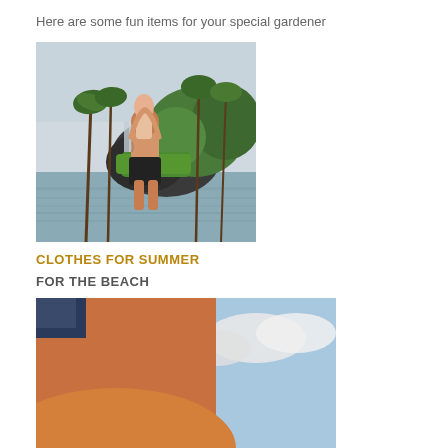Here are some fun items for your special gardener
[Figure (photo): A couple embracing in shallow water with a waterfall and tropical palm trees in the background. The man is holding the woman up while standing in water.]
CLOTHES FOR SUMMER
FOR THE BEACH
[Figure (photo): Partial view of a person at the beach, cropped at the bottom of the page, with blue sky visible.]